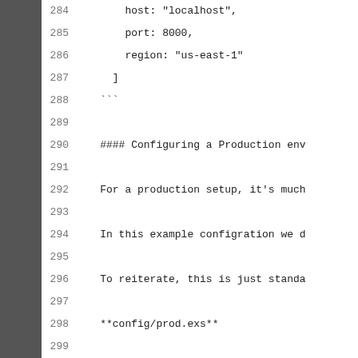284        host: "localhost",
285        port: 8000,
286        region: "us-east-1"
287      ]
288    ```
289    
290    #### Configuring a Production env
291    
292    For a production setup, it's much
293    
294    In this example configration we d
295    
296    To reiterate, this is just standa
297    
298    **config/prod.exs**
299    
300    ```elixir
301    config :my_app, MyApp.Repo,
302      # ExAws configuration
303      access_key_id: [{:system, "AWS_
304      secret_access_key: [{:system, "
305      region: "us-east-1"